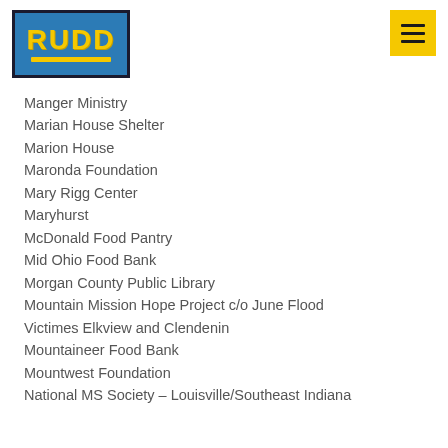RUDD
Manger Ministry
Marian House Shelter
Marion House
Maronda Foundation
Mary Rigg Center
Maryhurst
McDonald Food Pantry
Mid Ohio Food Bank
Morgan County Public Library
Mountain Mission Hope Project c/o June Flood
Victimes Elkview and Clendenin
Mountaineer Food Bank
Mountwest Foundation
National MS Society – Louisville/Southeast Indiana